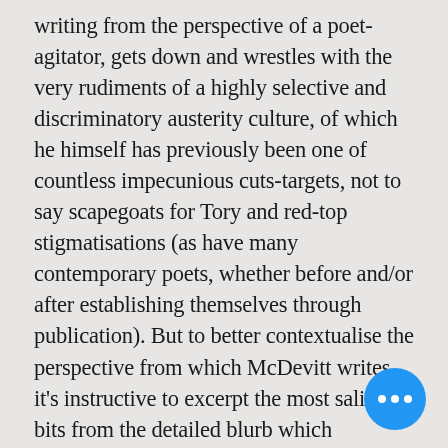writing from the perspective of a poet-agitator, gets down and wrestles with the very rudiments of a highly selective and discriminatory austerity culture, of which he himself has previously been one of countless impecunious cuts-targets, not to say scapegoats for Tory and red-top stigmatisations (as have many contemporary poets, whether before and/or after establishing themselves through publication). But to better contextualise the perspective from which McDevitt writes, it's instructive to excerpt the most salient bits from the detailed blurb which accompanied the original promotion of Porterloo at the International Times webzine (from which I'll continue to quote throughout this review for contextual reference points as I comment on each poem):